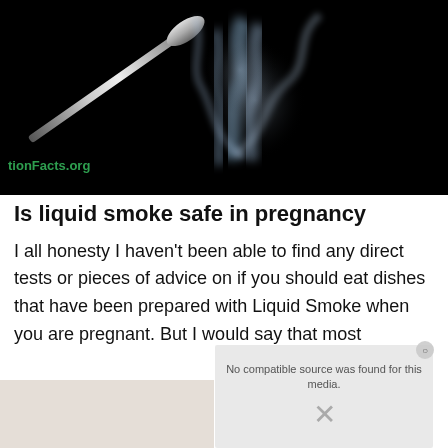[Figure (photo): Dark background photo of a metallic spoon with blue-white smoke curling upward from it, with partial watermark text 'tionFacts.org' in green in the lower left of the image]
Is liquid smoke safe in pregnancy
I all honesty I haven't been able to find any direct tests or pieces of advice on if you should eat dishes that have been prepared with Liquid Smoke when you are pregnant. But I would say that most
[Figure (screenshot): Video player overlay showing 'No compatible source was found for this media.' text with an X close button, overlaid on a blurred food background image]